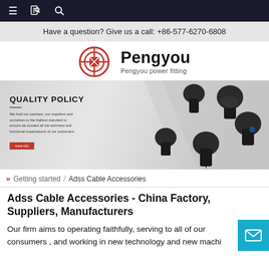≡  [book icon]  🔍
Have a question? Give us a call: +86-577-6270-6808
[Figure (logo): Pengyou power fitting logo — circular red emblem with cross/grid pattern, brand name 'Pengyou' in bold black, subtitle 'Pengyou power fitting']
[Figure (photo): Quality Policy banner image showing multiple black cable clamp/suspension clamp hardware fittings on a light grey background with text: 'QUALITY POLICY - We hold our partners, our suppliers and ourselves to the highest standard to ensure we exceed all the technical and functional expectations of our customers.' with a red 'More Info' button.]
» Getting started / Adss Cable Accessories
Adss Cable Accessories - China Factory, Suppliers, Manufacturers
Our firm aims to operating faithfully, serving to all of our consumers , and working in new technology and new machi